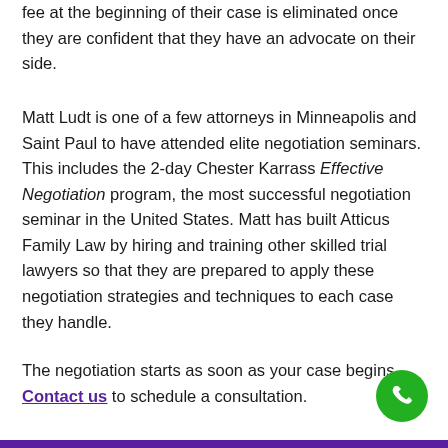fee at the beginning of their case is eliminated once they are confident that they have an advocate on their side.
Matt Ludt is one of a few attorneys in Minneapolis and Saint Paul to have attended elite negotiation seminars. This includes the 2-day Chester Karrass Effective Negotiation program, the most successful negotiation seminar in the United States. Matt has built Atticus Family Law by hiring and training other skilled trial lawyers so that they are prepared to apply these negotiation strategies and techniques to each case they handle.
The negotiation starts as soon as your case begins. Contact us to schedule a consultation.